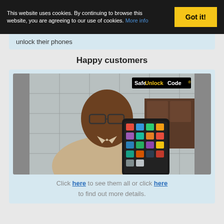This website uses cookies. By continuing to browse this website, you are agreeing to our use of cookies. More info
Got it!
unlock their phones
Happy customers
[Figure (photo): A man wearing glasses holding up an unlocked Android smartphone showing the home screen, with SafeUnlockCode watermark in the upper right corner]
Click here to see them all or click here to find out more details.